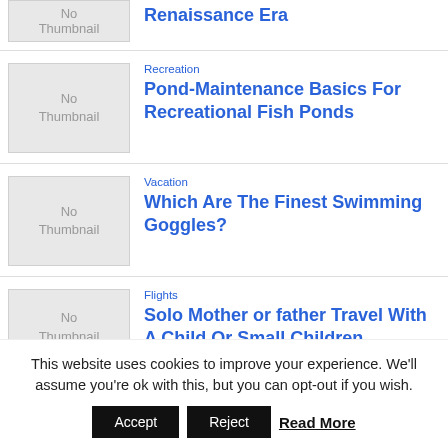[Figure (other): No Thumbnail placeholder image]
Renaissance Era
[Figure (other): No Thumbnail placeholder image]
Recreation
Pond-Maintenance Basics For Recreational Fish Ponds
[Figure (other): No Thumbnail placeholder image]
Vacation
Which Are The Finest Swimming Goggles?
[Figure (other): No Thumbnail placeholder image]
Flights
Solo Mother or father Travel With A Child Or Small Children
This website uses cookies to improve your experience. We'll assume you're ok with this, but you can opt-out if you wish.